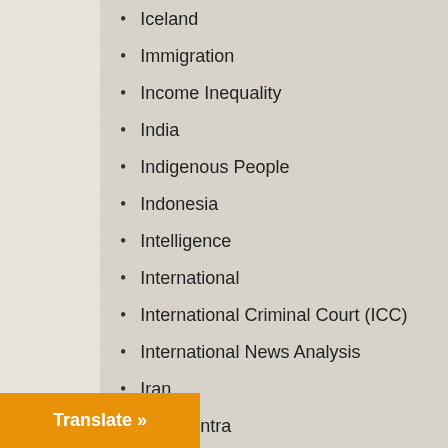Iceland
Immigration
Income Inequality
India
Indigenous People
Indonesia
Intelligence
International
International Criminal Court (ICC)
International News Analysis
Iran
Iran-Contra
Iraq
Ireland
Israel
Italy
Japan
Japan
Joe Lauria
Julian Assange